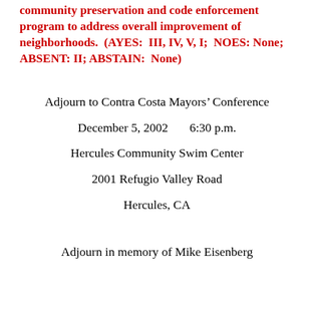community preservation and code enforcement program to address overall improvement of neighborhoods.  (AYES:  III, IV, V, I;  NOES: None; ABSENT: II; ABSTAIN:  None)
Adjourn to Contra Costa Mayors' Conference
December 5, 2002      6:30 p.m.
Hercules Community Swim Center
2001 Refugio Valley Road
Hercules, CA
Adjourn in memory of Mike Eisenberg